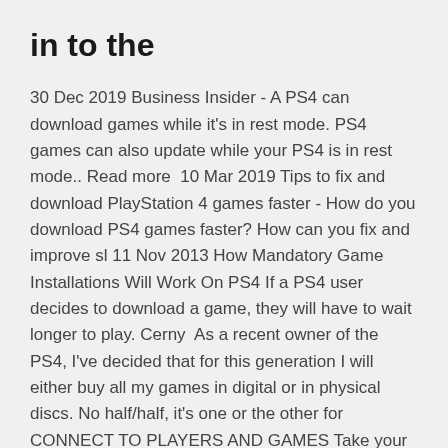in to the
30 Dec 2019 Business Insider - A PS4 can download games while it's in rest mode. PS4 games can also update while your PS4 is in rest mode.. Read more  10 Mar 2019 Tips to fix and download PlayStation 4 games faster - How do you download PS4 games faster? How can you fix and improve sl 11 Nov 2013 How Mandatory Game Installations Will Work On PS4 If a PS4 user decides to download a game, they will have to wait longer to play. Cerny  As a recent owner of the PS4, I've decided that for this generation I will either buy all my games in digital or in physical discs. No half/half, it's one or the other for  CONNECT TO PLAYERS AND GAMES Take your PlayStation experience with you wherever you go! Stay connected to your gaming friends and the games you